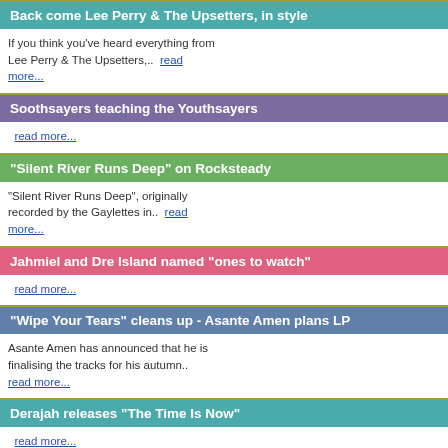Back come Lee Perry & The Upsetters, in style
If you think you've heard everything from Lee Perry & The Upsetters,..  read more...
Soothsayers teaching the Youthsayers
read more...
"Silent River Runs Deep" on Rocksteady
"Silent River Runs Deep", originally recorded by the Gaylettes in..  read more...
Jahmiel and Dre Island named "ones to watch"
read more...
"Wipe Your Tears" cleans up - Asante Amen plans LP
Asante Amen has announced that he is finalising the tracks for his autumn.. read more...
Derajah releases "The Time Is Now"
read more...